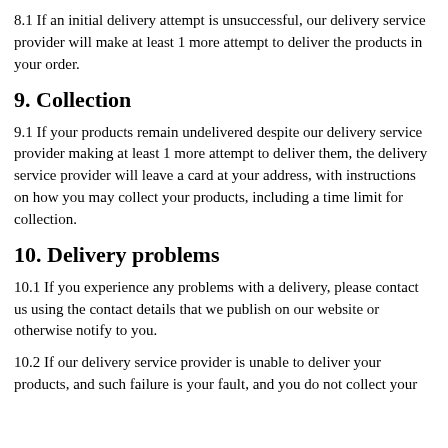8.1 If an initial delivery attempt is unsuccessful, our delivery service provider will make at least 1 more attempt to deliver the products in your order.
9. Collection
9.1 If your products remain undelivered despite our delivery service provider making at least 1 more attempt to deliver them, the delivery service provider will leave a card at your address, with instructions on how you may collect your products, including a time limit for collection.
10. Delivery problems
10.1 If you experience any problems with a delivery, please contact us using the contact details that we publish on our website or otherwise notify to you.
10.2 If our delivery service provider is unable to deliver your products, and such failure is your fault, and you do not collect your